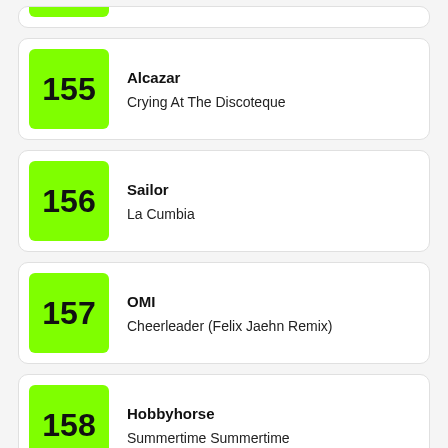155 | Alcazar | Crying At The Discoteque
156 | Sailor | La Cumbia
157 | OMI | Cheerleader (Felix Jaehn Remix)
158 | Hobbyhorse | Summertime Summertime